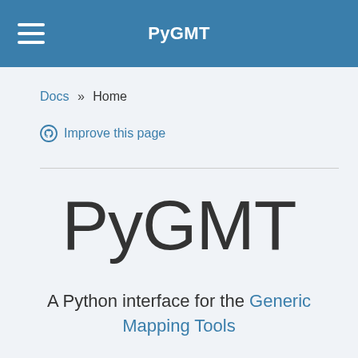PyGMT
Docs » Home
Improve this page
PyGMT
A Python interface for the Generic Mapping Tools